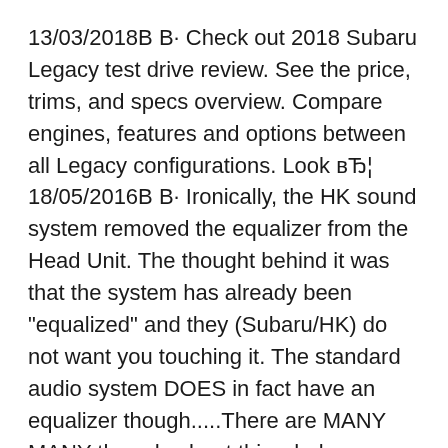13/03/2018В В· Check out 2018 Subaru Legacy test drive review. See the price, trims, and specs overview. Compare engines, features and options between all Legacy configurations. Look вЂ¦ 18/05/2016В В· Ironically, the HK sound system removed the equalizer from the Head Unit. The thought behind it was that the system has already been "equalized" and they (Subaru/HK) do not want you touching it. The standard audio system DOES in fact have an equalizer though.....There are MANY MANY threads about this whole discussion. Look around and read up.
13/03/2018В В· Check out 2018 Subaru Legacy test drive review. See the price, trims, and specs overview. Compare engines, features and options